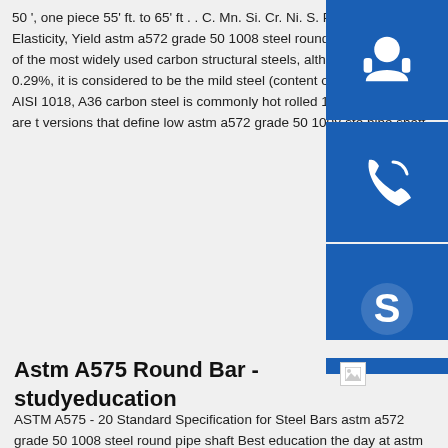50 ', one piece 55' ft. to 65' ft. . C. Mn. Si. Cr. Ni. S. P. Mo. ASTM A36 Steel Properties, Modulus of Elasticity, Yield astm a572 grade 50 1008 steel round pipe shaftASTM A36 Steel ASTM A36 steel is one of the most widely used carbon structural steels, although the carbon content of A36 m is maximum 0.29%, it is considered to be the mild steel (content of carbon 0.25%).. A36 mild steel is often com to AISI 1018, A36 carbon steel is commonly hot rolled 1018 steel is commonly cold rolled.. Notes There are t versions that define low astm a572 grade 50 1008 steel pipe shaft
[Figure (infographic): Three blue icon boxes stacked vertically on the right side: headset/support icon, phone icon, Skype icon]
Astm A575 Round Bar - studyeducation
[Figure (photo): Broken/missing image placeholder]
ASTM A575 - 20 Standard Specification for Steel Bars astm a572 grade 50 1008 steel round pipe shaft Best education the day at astm Education Active Standard ASTM A575 Developed by Subcommittee A01.15. Book of Standards Volume 01.05.